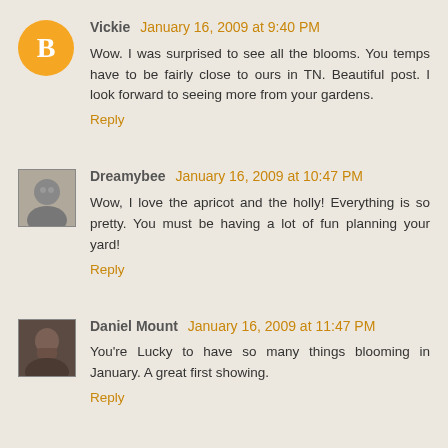Vickie  January 16, 2009 at 9:40 PM
Wow. I was surprised to see all the blooms. You temps have to be fairly close to ours in TN. Beautiful post. I look forward to seeing more from your gardens.
Reply
Dreamybee  January 16, 2009 at 10:47 PM
Wow, I love the apricot and the holly! Everything is so pretty. You must be having a lot of fun planning your yard!
Reply
Daniel Mount  January 16, 2009 at 11:47 PM
You're Lucky to have so many things blooming in January. A great first showing.
Reply